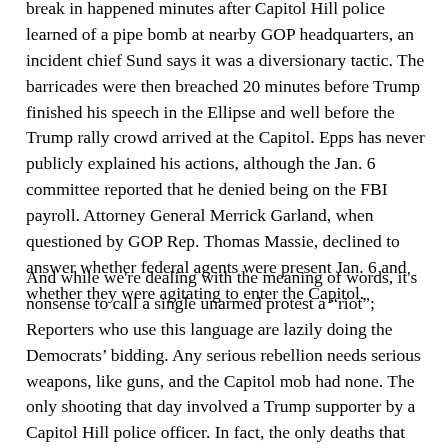break in happened minutes after Capitol Hill police learned of a pipe bomb at nearby GOP headquarters, an incident chief Sund says it was a diversionary tactic. The barricades were then breached 20 minutes before Trump finished his speech in the Ellipse and well before the Trump rally crowd arrived at the Capitol. Epps has never publicly explained his actions, although the Jan. 6 committee reported that he denied being on the FBI payroll. Attorney General Merrick Garland, when questioned by GOP Rep. Thomas Massie, declined to answer whether federal agents were present Jan. 6 and whether they were agitating to enter the Capitol.
And while we're dealing with the meaning of words, it's nonsense to call a single unarmed protest a “riot”; Reporters who use this language are lazily doing the Democrats’ bidding. Any serious rebellion needs serious weapons, like guns, and the Capitol mob had none. The only shooting that day involved a Trump supporter by a Capitol Hill police officer. In fact, the only deaths that day were pro-Trump protesters and officer Sicknick, who died of a